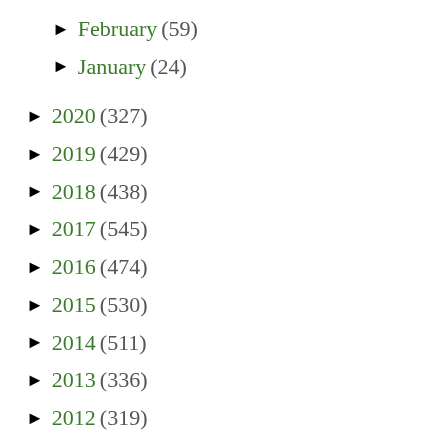► February (59)
► January (24)
► 2020 (327)
► 2019 (429)
► 2018 (438)
► 2017 (545)
► 2016 (474)
► 2015 (530)
► 2014 (511)
► 2013 (336)
► 2012 (319)
► 2011 (285)
► 2010 (525)
► 2009 (536)